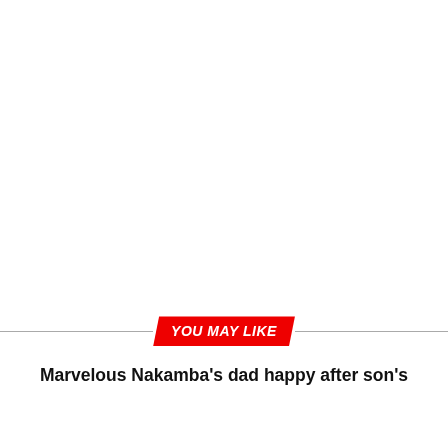YOU MAY LIKE
Marvelous Nakamba's dad happy after son's